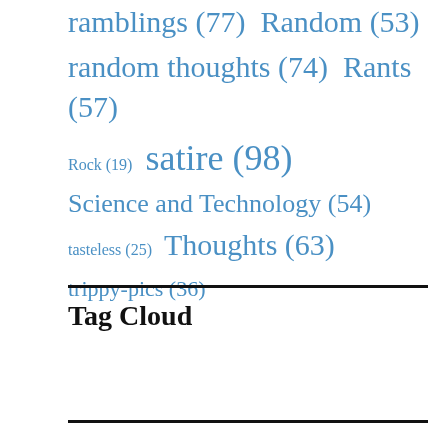ramblings (77)  Random (53)
random thoughts (74)  Rants (57)
Rock (19)  satire (98)
Science and Technology (54)
tasteless (25)  Thoughts (63)
trippy-pics (36)
Tag Cloud